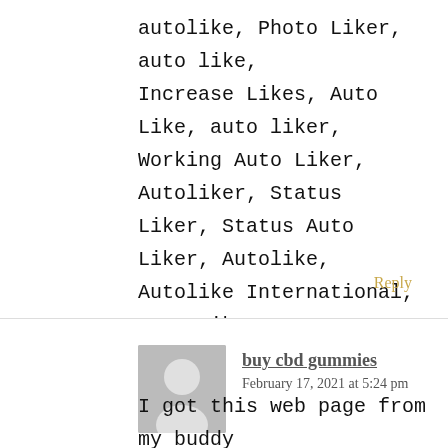autolike, Photo Liker, auto like, Increase Likes, Auto Like, auto liker, Working Auto Liker, Autoliker, Status Liker, Status Auto Liker, Autolike, Autolike International, Auto Liker, autoliker Kizzee Aldous McCarthy
Reply
[Figure (other): Grey avatar/placeholder user icon showing a silhouette of a person]
buy cbd gummies says: February 17, 2021 at 5:24 pm
I got this web page from my buddy who told me about this site and at the